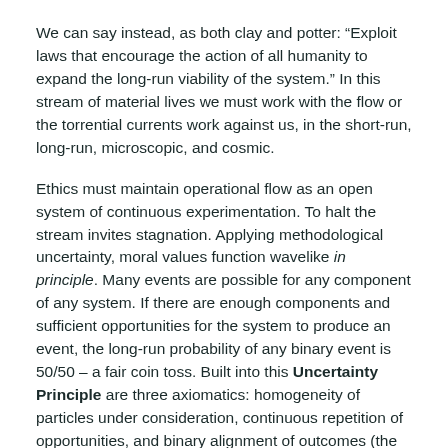We can say instead, as both clay and potter: “Exploit laws that encourage the action of all humanity to expand the long-run viability of the system.” In this stream of material lives we must work with the flow or the torrential currents work against us, in the short-run, long-run, microscopic, and cosmic.
Ethics must maintain operational flow as an open system of continuous experimentation. To halt the stream invites stagnation. Applying methodological uncertainty, moral values function wavelike in principle. Many events are possible for any component of any system. If there are enough components and sufficient opportunities for the system to produce an event, the long-run probability of any binary event is 50/50 – a fair coin toss. Built into this Uncertainty Principle are three axiomatics: homogeneity of particles under consideration, continuous repetition of opportunities, and binary alignment of outcomes (the